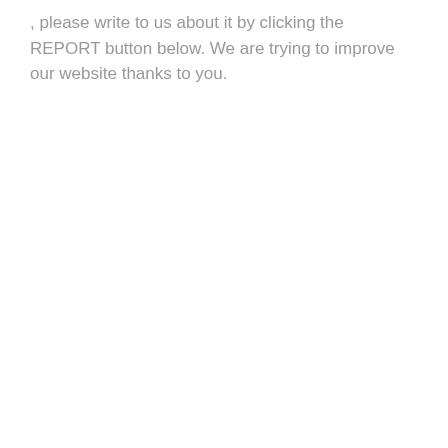, please write to us about it by clicking the REPORT button below. We are trying to improve our website thanks to you.